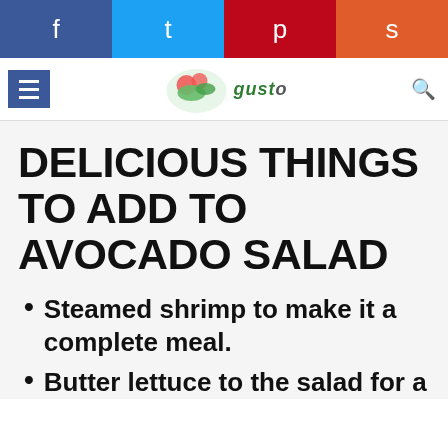Social sharing bar: Facebook, Twitter, Pinterest, Reddit
[Figure (screenshot): Website header with food image and site logo/title]
DELICIOUS THINGS TO ADD TO AVOCADO SALAD
Steamed shrimp to make it a complete meal.
Butter lettuce to the salad for a